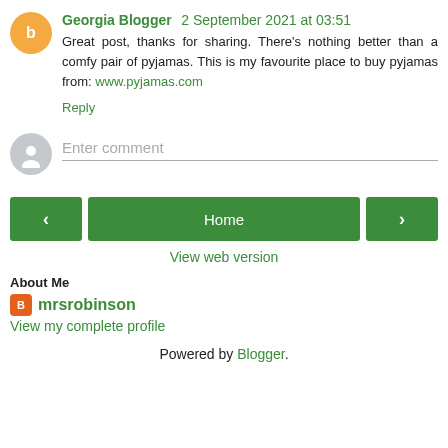Georgia Blogger 2 September 2021 at 03:51
Great post, thanks for sharing. There's nothing better than a comfy pair of pyjamas. This is my favourite place to buy pyjamas from: www.pyjamas.com
Reply
Enter comment
Home
View web version
About Me
mrsrobinson
View my complete profile
Powered by Blogger.